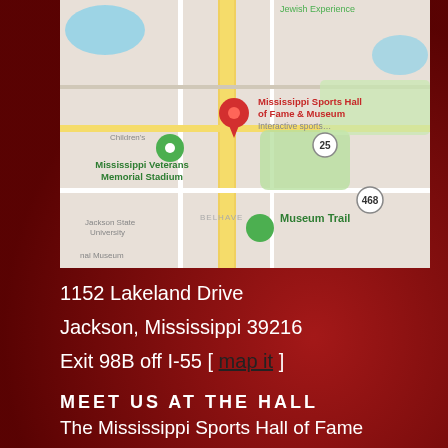[Figure (map): Google Maps screenshot showing the area around Mississippi Sports Hall of Fame & Museum at 1152 Lakeland Drive, Jackson, MS. A red map pin marks the location. Nearby landmarks labeled include Mississippi Veterans Memorial Stadium, Museum Trail, and Children's area. Roads including I-55 and route 25 and 468 are visible.]
1152 Lakeland Drive
Jackson, Mississippi 39216
Exit 98B off I-55 [ map it ]
MEET US AT THE HALL
The Mississippi Sports Hall of Fame and Museum